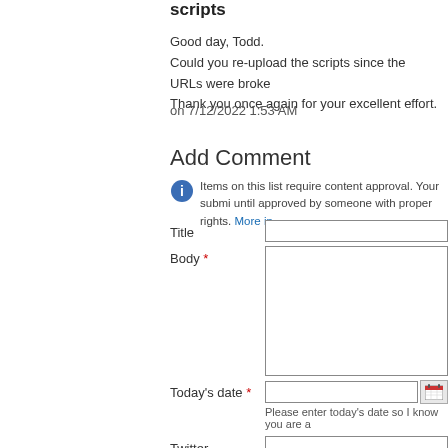scripts
Good day, Todd.
Could you re-upload the scripts since the URLs were broke
Thank you once again for your excellent effort.
on 7/12/2022 1:53 AM
Add Comment
Items on this list require content approval. Your submi until approved by someone with proper rights. More in
Title
Body *
Today's date *
Please enter today's date so I know you are a
Twitter
Want a message when I reply to your comme